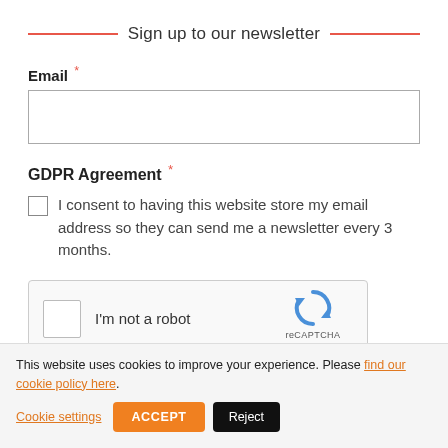Sign up to our newsletter
Email *
GDPR Agreement *
I consent to having this website store my email address so they can send me a newsletter every 3 months.
[Figure (other): reCAPTCHA widget with checkbox labeled 'I'm not a robot' and reCAPTCHA logo with Privacy and Terms links]
This website uses cookies to improve your experience. Please find our cookie policy here. Cookie settings ACCEPT Reject